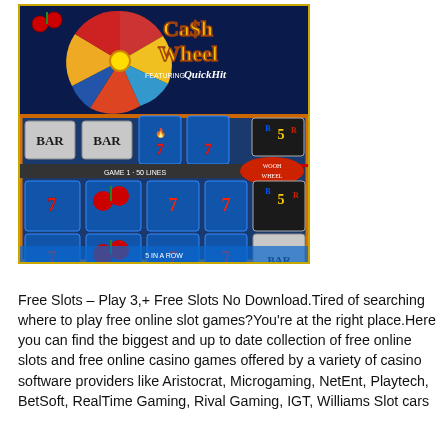[Figure (screenshot): Screenshot of a slot machine game called 'Cash Wheel Featuring Quick Hit'. The game shows a colorful slot machine interface with reels displaying 7s, cherries, BAR symbols, and B5R symbols. There is a large colorful wheel (cash wheel) at the top with multicolored segments. The background is blue/silver with orange borders.]
Free Slots – Play 3,+ Free Slots No Download.Tired of searching where to play free online slot games?You're at the right place.Here you can find the biggest and up to date collection of free online slots and free online casino games offered by a variety of casino software providers like Aristocrat, Microgaming, NetEnt, Playtech, BetSoft, RealTime Gaming, Rival Gaming, IGT, Williams Slot cars